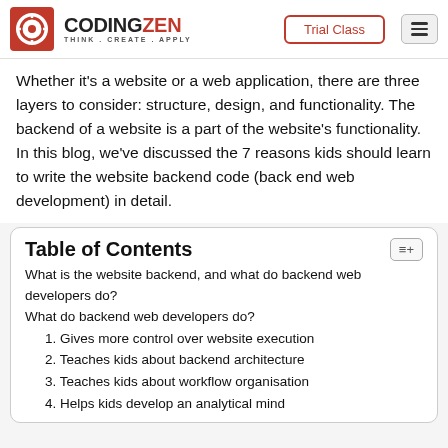CODINGZEN THINK. CREATE. APPLY | Trial Class
Whether it's a website or a web application, there are three layers to consider: structure, design, and functionality. The backend of a website is a part of the website's functionality. In this blog, we've discussed the 7 reasons kids should learn to write the website backend code (back end web development) in detail.
Table of Contents
What is the website backend, and what do backend web developers do?
What do backend web developers do?
1. Gives more control over website execution
2. Teaches kids about backend architecture
3. Teaches kids about workflow organisation
4. Helps kids develop an analytical mind